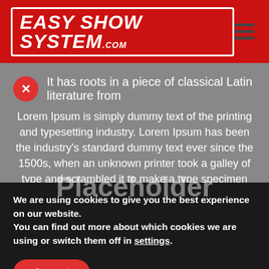[Figure (logo): Easy Show System .com logo in white italic bold text inside a white border box on red background, with hamburger menu icon on the right]
It has roots in a piece of classical Latin literature from
Lorem Ipsum is simply dummy text of the printing and typesetting industry. Lorem Ipsum has been the industry's standard dummy text ever since the 1500s, when an unknown printer took a galley of type and scrambled it to make a type specimen book. It has survived not only five centuries, but also the leap into electronic typesetting, remaining essentially unchanged. It was popularised in the 1960s with the release of Letraset sheets containing Lorem Ipsum passages, and more
We are using cookies to give you the best experience on our website.
You can find out more about which cookies we are using or switch them off in settings.
Accept